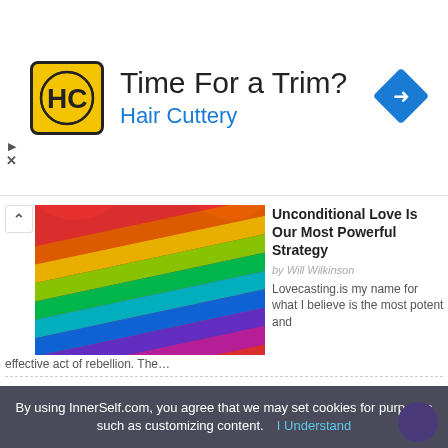[Figure (other): Hair Cuttery advertisement banner with yellow HC logo, title 'Time For a Trim?', subtitle 'Hair Cuttery', and blue diamond navigation icon]
[Figure (photo): Colorful rainbow wavy stripes texture image for article about Unconditional Love]
Unconditional Love Is Our Most Powerful Strategy
by Will Wilkinson
Lovecasting.is my name for what I believe is the most potent and effective act of rebellion. The...
[Figure (photo): Woman lying down with flower in hair, upside-down face visible with pink floral background]
How Posture Matters When Taking Medication
by Jill Rosen
We were very surprised that posture had such an immense effect on the dissolution rate of a pill.
By using InnerSelf.com, you agree that we may set cookies for purposes such as customizing content.  I Understand